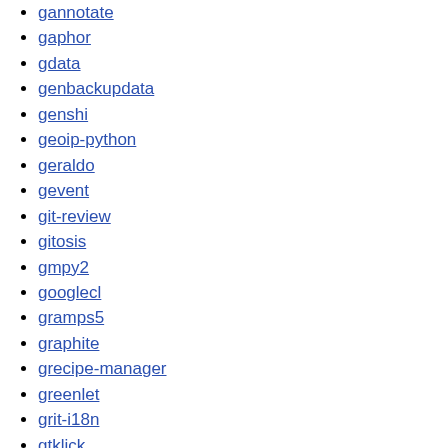gannotate
gaphor
gdata
genbackupdata
genshi
geoip-python
geraldo
gevent
git-review
gitosis
gmpy2
googlecl
gramps5
graphite
grecipe-manager
greenlet
grit-i18n
gtklick
gyp
haishoku
halrv
hatta
hellanzb
hg-git
httpcat